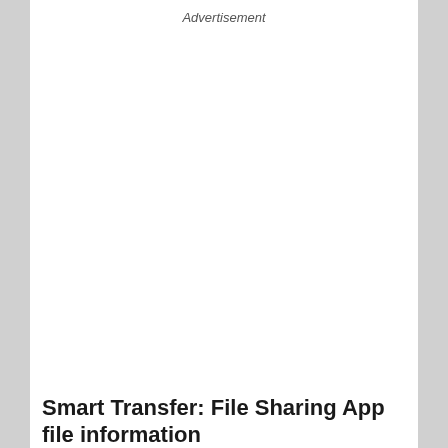Advertisement
Smart Transfer: File Sharing App file information